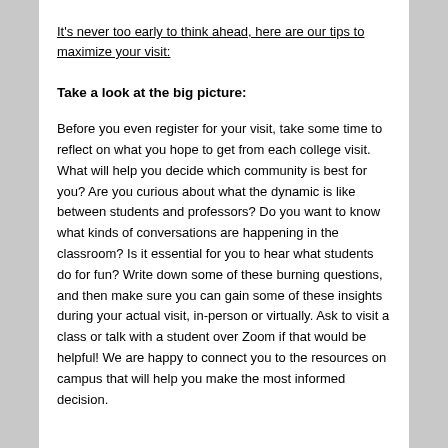It's never too early to think ahead, here are our tips to maximize your visit:
Take a look at the big picture:
Before you even register for your visit, take some time to reflect on what you hope to get from each college visit. What will help you decide which community is best for you? Are you curious about what the dynamic is like between students and professors? Do you want to know what kinds of conversations are happening in the classroom? Is it essential for you to hear what students do for fun? Write down some of these burning questions, and then make sure you can gain some of these insights during your actual visit, in-person or virtually. Ask to visit a class or talk with a student over Zoom if that would be helpful! We are happy to connect you to the resources on campus that will help you make the most informed decision.